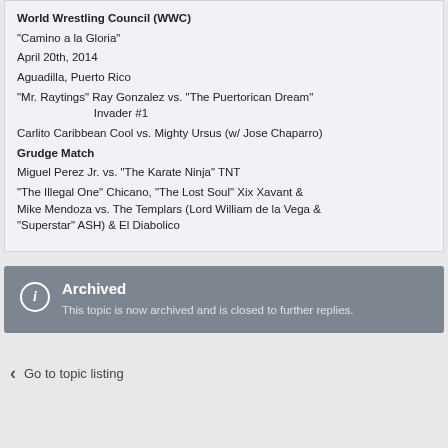World Wrestling Council (WWC)
"Camino a la Gloria"
April 20th, 2014
Aguadilla, Puerto Rico
"Mr. Raytings" Ray Gonzalez vs. "The Puertorican Dream" Invader #1
Carlito Caribbean Cool vs. Mighty Ursus (w/ Jose Chaparro)
Grudge Match
Miguel Perez Jr. vs. "The Karate Ninja" TNT
"The Illegal One" Chicano, "The Lost Soul" Xix Xavant & Mike Mendoza vs. The Templars (Lord William de la Vega & "Superstar" ASH) & El Diabolico
Archived
This topic is now archived and is closed to further replies.
Go to topic listing